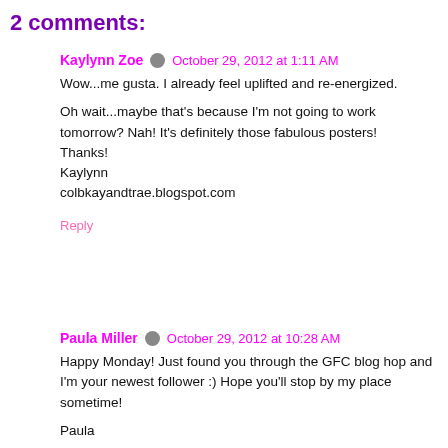2 comments:
Kaylynn Zoe · October 29, 2012 at 1:11 AM
Wow...me gusta. I already feel uplifted and re-energized.

Oh wait...maybe that's because I'm not going to work tomorrow? Nah! It's definitely those fabulous posters!
Thanks!
Kaylynn
colbkayandtrae.blogspot.com
Reply
Paula Miller · October 29, 2012 at 10:28 AM
Happy Monday! Just found you through the GFC blog hop and I'm your newest follower :) Hope you'll stop by my place sometime!

Paula